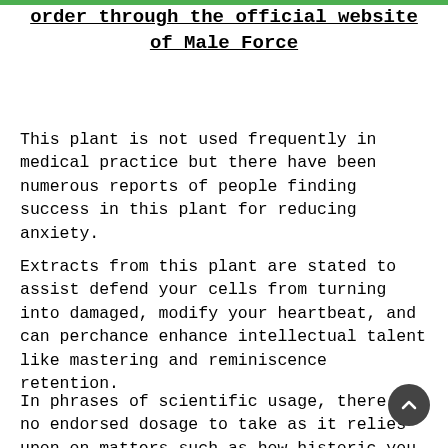order through the official website of Male Force
This plant is not used frequently in medical practice but there have been numerous reports of people finding success in this plant for reducing anxiety.
Extracts from this plant are stated to assist defend your cells from turning into damaged, modify your heartbeat, and can perchance enhance intellectual talent like mastering and reminiscence retention.
In phrases of scientific usage, there is no endorsed dosage to take as it relies upon on matters such as how historic you are and what underlying fitness prerequisites you have, so you ought to genuinely speak to your medical